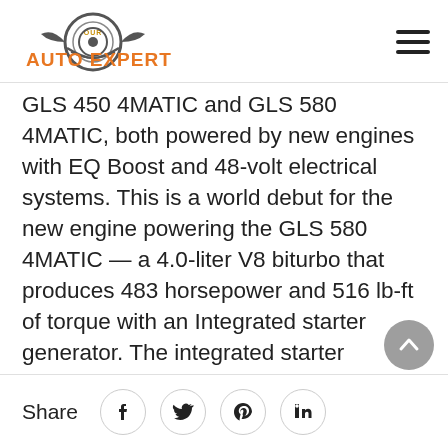[Figure (logo): Our Auto Expert logo — circular gear/tire emblem with 'OUR' in gold and 'AUTO EXPERT' in orange text]
GLS 450 4MATIC and GLS 580 4MATIC, both powered by new engines with EQ Boost and 48-volt electrical systems. This is a world debut for the new engine powering the GLS 580 4MATIC — a 4.0-liter V8 biturbo that produces 483 horsepower and 516 lb-ft of torque with an Integrated starter generator. The integrated starter
Share